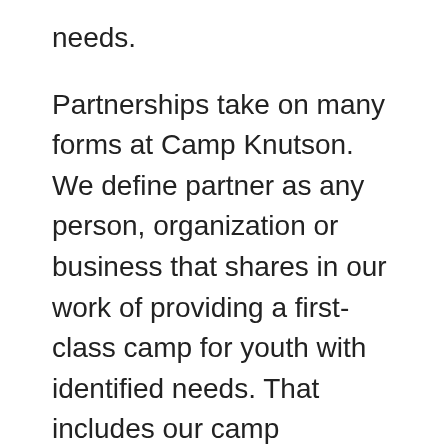needs.
Partnerships take on many forms at Camp Knutson. We define partner as any person, organization or business that shares in our work of providing a first-class camp for youth with identified needs. That includes our camp partners, volunteers, alumni, local business community, corporate sponsors, churches, retreat partners and so much more.
Consider joining the Camp Knutson community: